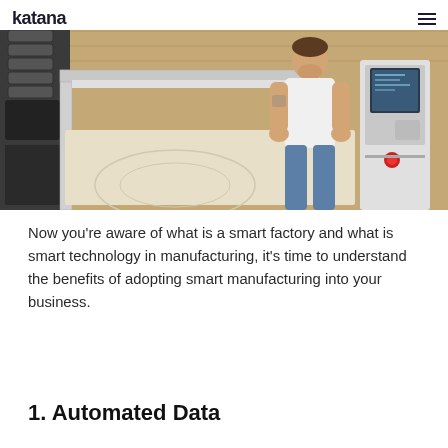katana
[Figure (photo): A man in a white t-shirt operating a large CNC router machine in a woodworking workshop with OSB board walls]
Now you’re aware of what is a smart factory and what is smart technology in manufacturing, it’s time to understand the benefits of adopting smart manufacturing into your business.
1. Automated Data